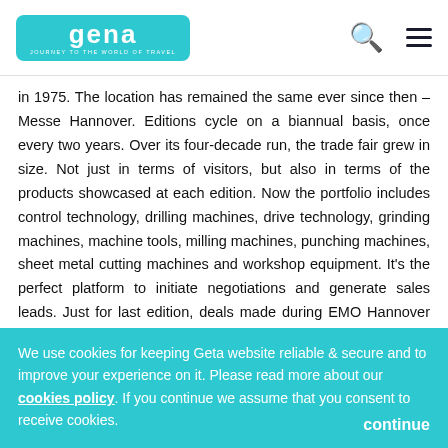Geta — Journey to the world of travel (logo with search and menu icons)
in 1975. The location has remained the same ever since then – Messe Hannover. Editions cycle on a biannual basis, once every two years. Over its four-decade run, the trade fair grew in size. Not just in terms of visitors, but also in terms of the products showcased at each edition. Now the portfolio includes control technology, drilling machines, drive technology, grinding machines, machine tools, milling machines, punching machines, sheet metal cutting machines and workshop equipment. It's the perfect platform to initiate negotiations and generate sales leads. Just for last edition, deals made during EMO Hannover were valued at more than 8 billion Euros!
EMO Hannover stays on the cusp of new technologies and megatrends. Organisers are restarting the trade fair in 2023 with new formats and a focus on three major megatrends
We use cookies for keeping Geta website reliable & secure and to improve your experience on it. Please read more about our cookies policy. If you continue we assume that you consent to receive cookies. continue